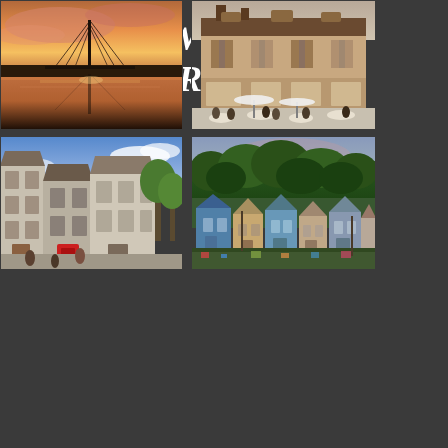FOLLOW US ON INSTAGRAM
[Figure (photo): Sunset over a harbor with a cable-stayed bridge and its reflection in the water, orange and pink sky]
[Figure (photo): Old French town building facade with shuttered windows and an outdoor cafe with white umbrellas and people sitting outside]
[Figure (photo): Narrow European street with colorful building facades including a red door, blue sky above]
[Figure (photo): Aerial or elevated view of a small town with blue-roofed houses surrounded by dense green trees at dusk]